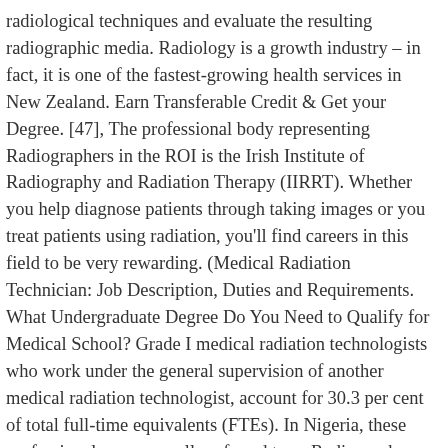radiological techniques and evaluate the resulting radiographic media. Radiology is a growth industry – in fact, it is one of the fastest-growing health services in New Zealand. Earn Transferable Credit & Get your Degree. [47], The professional body representing Radiographers in the ROI is the Irish Institute of Radiography and Radiation Therapy (IIRRT). Whether you help diagnose patients through taking images or you treat patients using radiation, you'll find careers in this field to be very rewarding. (Medical Radiation Technician: Job Description, Duties and Requirements. What Undergraduate Degree Do You Need to Qualify for Medical School? Grade I medical radiation technologists who work under the general supervision of another medical radiation technologist, account for 30.3 per cent of total full-time equivalents (FTEs). In Nigeria, these professionals are generally referred to as Radiographers or Medical Radiographers to differentiate them from Industrial Radiographers. [38] It is not uncommon for radiographers to now conduct procedures which would have previously been